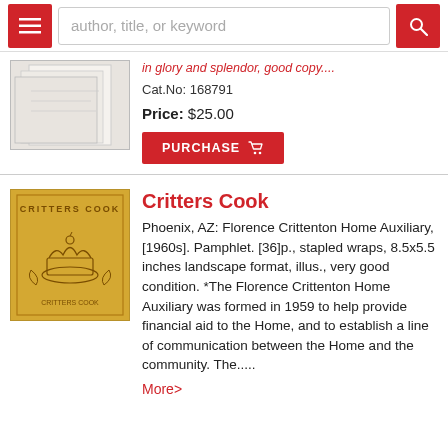author, title, or keyword
[Figure (photo): Partial book cover image at top of page, showing white/beige pages or cover]
Cat.No: 168791
Price: $25.00
PURCHASE
[Figure (photo): Yellow/golden colored pamphlet cover with 'Critters Cook' text and illustration of a cupcake or dessert]
Critters Cook
Phoenix, AZ: Florence Crittenton Home Auxiliary, [1960s]. Pamphlet. [36]p., stapled wraps, 8.5x5.5 inches landscape format, illus., very good condition. *The Florence Crittenton Home Auxiliary was formed in 1959 to help provide financial aid to the Home, and to establish a line of communication between the Home and the community. The.....
More>